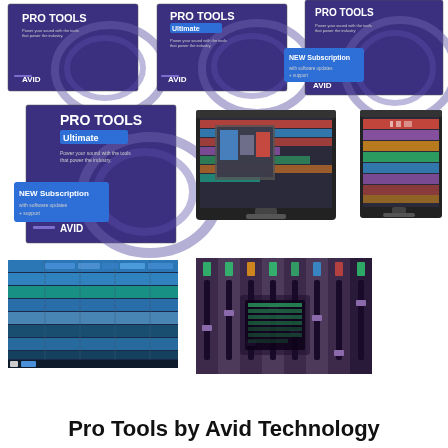[Figure (photo): Grid of 8 product images for Pro Tools by Avid Technology: 3 software box shots in row 1, 3 items (box + 2 monitor screenshots) in row 2, 2 DAW interface screenshots in row 3]
Pro Tools by Avid Technology